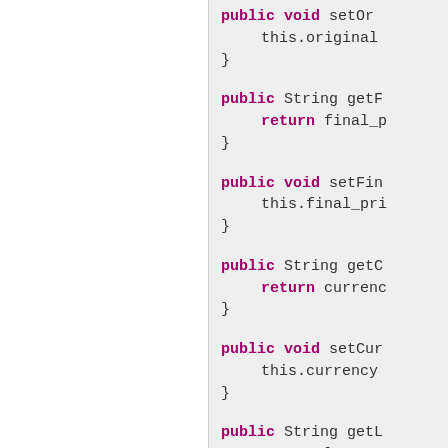[Figure (screenshot): Java source code showing public getter and setter methods: setOr..., getFinalPrice (returning final_p...), setFin... (setting this.final_pri...), getCur... (returning currenc...), setCur... (setting this.currency...), getL... (returning large_o...), setLa... (truncated at bottom)]